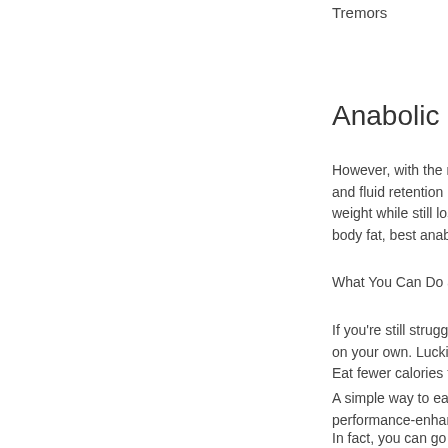Tremors
Anabolic ste
However, with the rig
and fluid retention is
weight while still losin
body fat, best anabo
What You Can Do ar
If you're still strugglin
on your own. Luckily,
Eat fewer calories tha
A simple way to eat b
performance-enhanc
In fact, you can go as
steroids in sport.